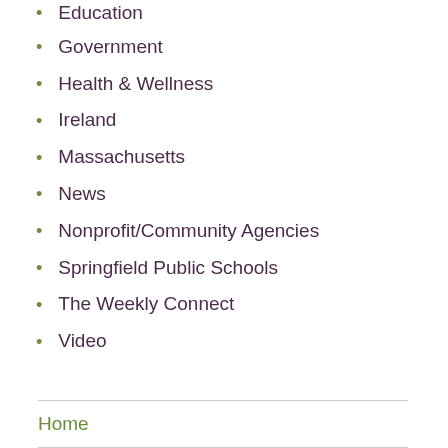Education
Government
Health & Wellness
Ireland
Massachusetts
News
Nonprofit/Community Agencies
Springfield Public Schools
The Weekly Connect
Video
Home
Blog